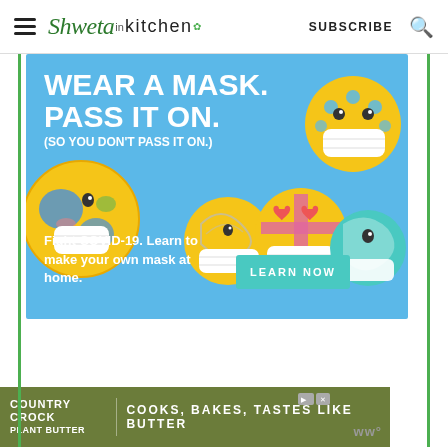Shweta in kitchen | SUBSCRIBE
[Figure (infographic): COVID-19 public health advertisement: 'WEAR A MASK. PASS IT ON. (SO YOU DON'T PASS IT ON.)' with emoji faces wearing masks and a 'LEARN NOW' button. Text: 'Fight COVID-19. Learn to make your own mask at home.']
[Figure (infographic): Country Crock Plant Butter advertisement: 'COOKS, BAKES, TASTES LIKE BUTTER']